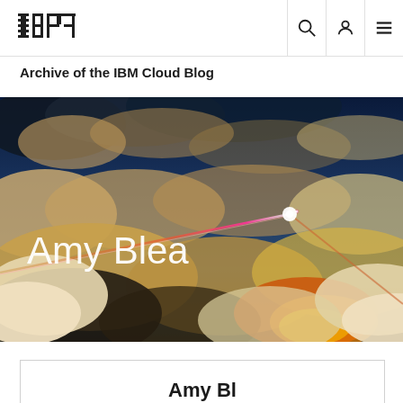IBM logo navigation bar with search, user, and menu icons
Archive of the IBM Cloud Blog
[Figure (photo): Aerial dramatic photo of clouds with laser light beam streak across the sky, with 'Amy Blea' text overlay in white]
Amy Bl...